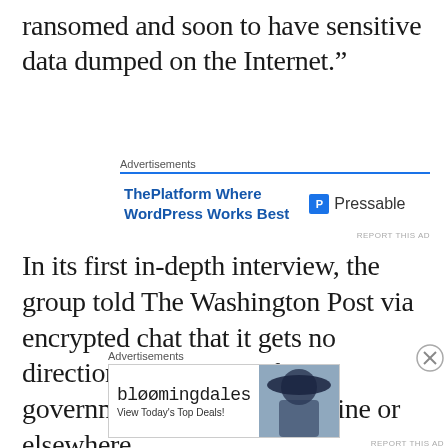ransomed and soon to have sensitive data dumped on the Internet.”
[Figure (screenshot): Advertisement banner for ThePlatform Where WordPress Works Best - Pressable]
In its first in-depth interview, the group told The Washington Post via encrypted chat that it gets no direction or assistance from government officials in Ukraine or elsewhere.
[Figure (screenshot): Advertisement banner for Bloomingdale's - View Today's Top Deals! SHOP NOW >]